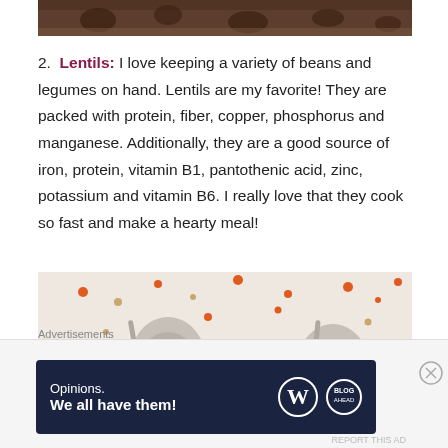[Figure (photo): Top portion of a photo showing dark spices or seeds on a burlap background, partially visible at top of page]
2. Lentils: I love keeping a variety of beans and legumes on hand. Lentils are my favorite! They are packed with protein, fiber, copper, phosphorus and manganese. Additionally, they are a good source of iron, protein, vitamin B1, pantothenic acid, zinc, potassium and vitamin B6. I really love that they cook so fast and make a hearty meal!
[Figure (photo): Photo of three metal spoons filled with different types of lentils (green/yellow, red/orange, and brown), scattered lentils on a white surface]
Advertisements
[Figure (other): Advertisement banner with dark navy background reading 'Opinions. We all have them!' with WordPress (W) and Blog logos on the right side]